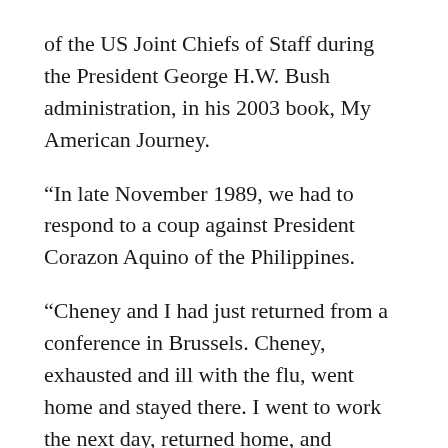of the US Joint Chiefs of Staff during the President George H.W. Bush administration, in his 2003 book, My American Journey.
“In late November 1989, we had to respond to a coup against President Corazon Aquino of the Philippines.
“Cheney and I had just returned from a conference in Brussels. Cheney, exhausted and ill with the flu, went home and stayed there. I went to work the next day, returned home, and gratefully hit the sack soon after dinner. An hour later, the phone rang, and I was informed by Tom Kelly that a coup was under way in the Philippines headed by a Gen. Edgardo